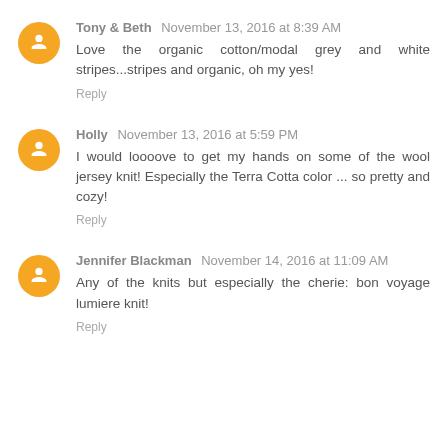Tony & Beth  November 13, 2016 at 8:39 AM
Love the organic cotton/modal grey and white stripes...stripes and organic, oh my yes!
Reply
Holly  November 13, 2016 at 5:59 PM
I would loooove to get my hands on some of the wool jersey knit! Especially the Terra Cotta color ... so pretty and cozy!
Reply
Jennifer Blackman  November 14, 2016 at 11:09 AM
Any of the knits but especially the cherie: bon voyage lumiere knit!
Reply